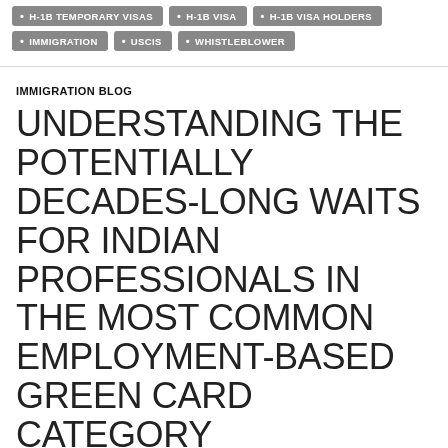H-1B TEMPORARY VISAS
H-1B VISA
H-1B VISA HOLDERS
IMMIGRATION
USCIS
WHISTLEBLOWER
IMMIGRATION BLOG
UNDERSTANDING THE POTENTIALLY DECADES-LONG WAITS FOR INDIAN PROFESSIONALS IN THE MOST COMMON EMPLOYMENT-BASED GREEN CARD CATEGORY
DECEMBER 26, 2011  •  STUART ANDERSON  •  LEAVE A COMMENT